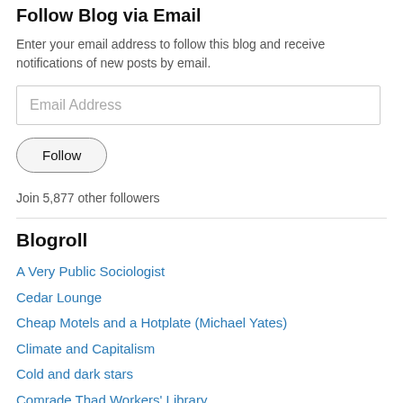Follow Blog via Email
Enter your email address to follow this blog and receive notifications of new posts by email.
Join 5,877 other followers
Blogroll
A Very Public Sociologist
Cedar Lounge
Cheap Motels and a Hotplate (Michael Yates)
Climate and Capitalism
Cold and dark stars
Comrade Thad Workers' Library
Connection/Comedieus (English/French)